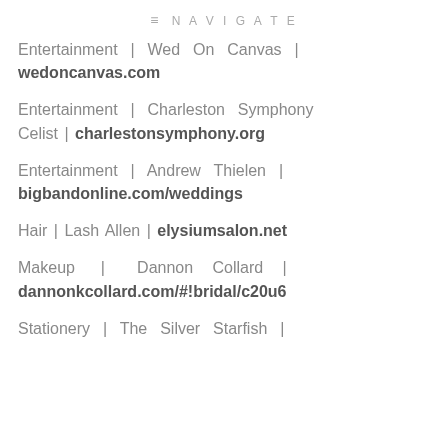≡ NAVIGATE
Entertainment | Wed On Canvas | wedoncanvas.com
Entertainment | Charleston Symphony Celist | charlestonsymphony.org
Entertainment | Andrew Thielen | bigbandonline.com/weddings
Hair | Lash Allen | elysiumsalon.net
Makeup | Dannon Collard | dannonkcollard.com/#!bridal/c20u6
Stationery | The Silver Starfish |